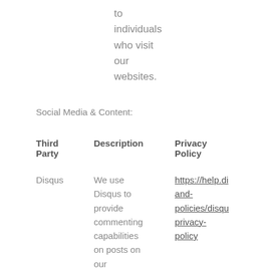to individuals who visit our websites.
Social Media & Content:
| Third Party | Description | Privacy Policy |
| --- | --- | --- |
| Disqus | We use Disqus to provide commenting capabilities on posts on our | https://help.di and-policies/disqu privacy-policy |